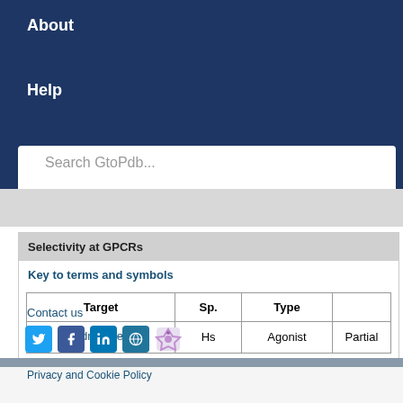About
Help
Search GtoPdb...
Selectivity at GPCRs
Key to terms and symbols
| Target | Sp. | Type |  |
| --- | --- | --- | --- |
| β2-adrenoceptor | Hs | Agonist | Partial |
Contact us
Privacy and Cookie Policy